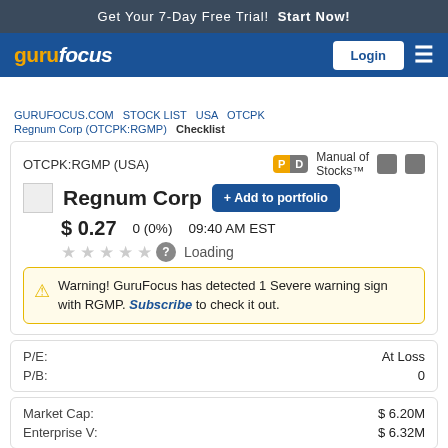Get Your 7-Day Free Trial!  Start Now!
[Figure (logo): GuruFocus logo in white and gold on blue nav bar with Login button and hamburger menu]
GURUFOCUS.COM  STOCK LIST  USA  OTCPK  Regnum Corp (OTCPK:RGMP)  Checklist
OTCPK:RGMP (USA)
Manual of Stocks™
Regnum Corp
+ Add to portfolio
$ 0.27  0 (0%)  09:40 AM EST
Loading
Warning! GuruFocus has detected 1 Severe warning sign with RGMP. Subscribe to check it out.
| Metric | Value |
| --- | --- |
| P/E: | At Loss |
| P/B: | 0 |
| Metric | Value |
| --- | --- |
| Market Cap: | $ 6.20M |
| Enterprise V: | $ 6.32M |